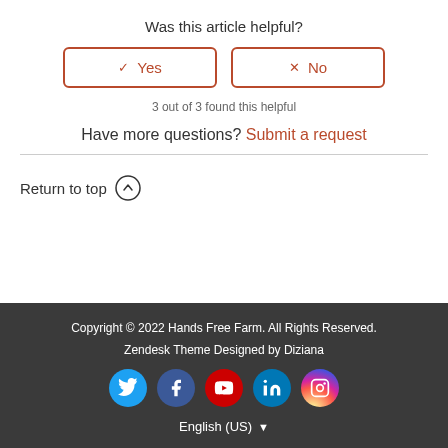Was this article helpful?
[Figure (other): Yes and No vote buttons with brown/orange border styling]
3 out of 3 found this helpful
Have more questions? Submit a request
Return to top
Copyright © 2022 Hands Free Farm. All Rights Reserved.
Zendesk Theme Designed by Diziana
English (US)